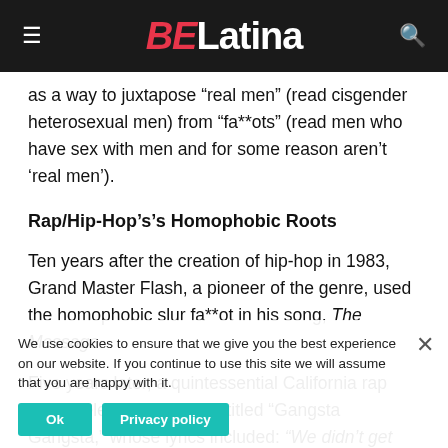BELatina
as a way to juxtapose “real men” (read cisgender heterosexual men) from “fa**ots” (read men who have sex with men and for some reason aren’t ‘real men’).
Rap/Hip-Hop’s’s Homophobic Roots
Ten years after the creation of hip-hop in 1983, Grand Master Flash, a pioneer of the genre, used the homophobic slur fa**ot in his song, The Message.
Five years later, a quintessential California rap group released a song entitled “Gangsta Gangsta,” whose lyrics included: “We didn’t get the ladies. With six niggas in a car — are you crazy? She was scared, and it was showin’ We all said, “Fuck you, bitch!” and kept goin’;” and “So
We use cookies to ensure that we give you the best experience on our website. If you continue to use this site we will assume that you are happy with it.